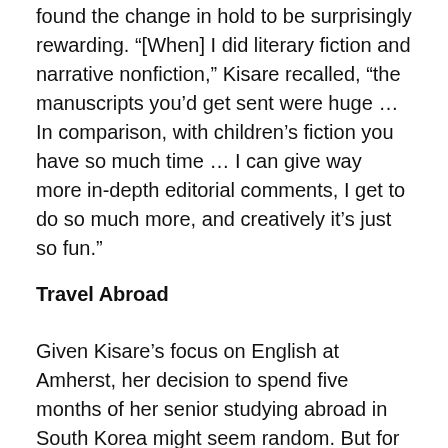found the change in hold to be surprisingly rewarding. “[When] I did literary fiction and narrative nonfiction,” Kisare recalled, “the manuscripts you’d get sent were huge … In comparison, with children’s fiction you have so much time … I can give way more in-depth editorial comments, I get to do so much more, and creatively it’s just so fun.”
Travel Abroad
Given Kisare’s focus on English at Amherst, her decision to spend five months of her senior studying abroad in South Korea might seem random. But for Kisare, who had originally hoped to study abroad at the start of her junior year, her interests made South Korea a natural choice. “People would sometimes ask me, ‘Why do you